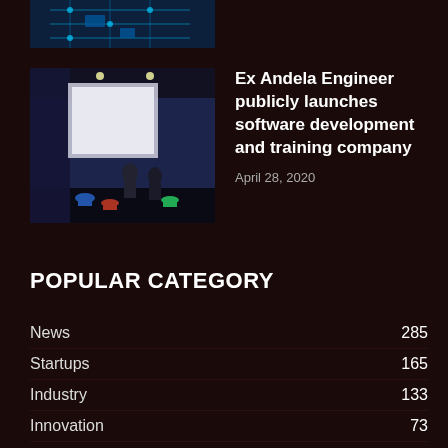[Figure (photo): Partial cropped image of circuit board with blue/teal tones at top of page]
[Figure (photo): Photo of a room with blue walls, projector screen, people standing inside, and colorful stools]
Ex Andela Engineer publicly launches software development and training company
April 28, 2020
POPULAR CATEGORY
News  285
Startups  165
Industry  133
Innovation  73
Press Release  58
Apps  41
Gadgets  38
Mobile Phones  28